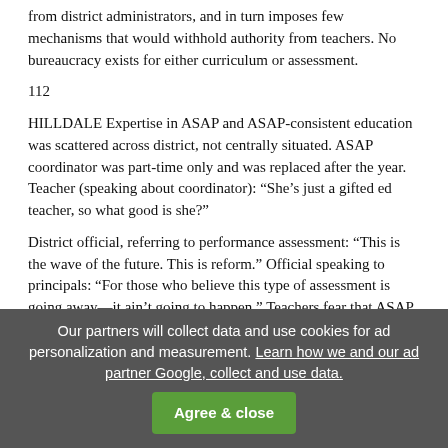from district administrators, and in turn imposes few mechanisms that would withhold authority from teachers. No bureaucracy exists for either curriculum or assessment.
112
HILLDALE Expertise in ASAP and ASAP-consistent education was scattered across district, not centrally situated. ASAP coordinator was part-time only and was replaced after the year. Teacher (speaking about coordinator): “She’s just a gifted ed teacher, so what good is she?”
District official, referring to performance assessment: “This is the wave of the future. This is reform.” Official speaking to principals: “For those who believe this type of assessment is going away—it ain’t going to happen.” Teachers fear that ASAP will be like many movements in AZ education, here and gone, in relation to the career interests of state officials.
PINE A significant and vocal minority of teachers profess...
Our partners will collect data and use cookies for ad personalization and measurement. Learn how we and our ad partner Google, collect and use data. Agree & close